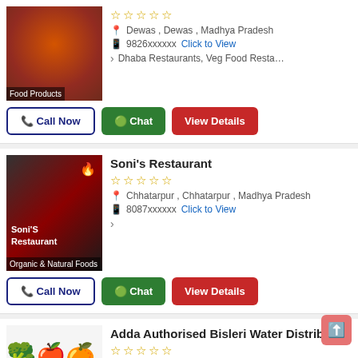[Figure (photo): Food products thumbnail with various dishes]
☆☆☆☆☆
Dewas , Dewas , Madhya Pradesh
9826xxxxxx  Click to View
Dhaba Restaurants, Veg Food Resta...
Call Now | Chat | View Details
Soni's Restaurant
[Figure (photo): Soni's Restaurant branding image with Organic & Natural Foods label]
☆☆☆☆☆
Chhatarpur , Chhatarpur , Madhya Pradesh
8087xxxxxx  Click to View
Call Now | Chat | View Details
Adda Authorised Bisleri Water Distributor
[Figure (photo): Beverages thumbnail with fruits and vegetables]
☆☆☆☆☆
Gwalior , Gwalior , Madhya Pradesh
8719xxxxxx  Click to View
Cold Drinks, Mineral Water